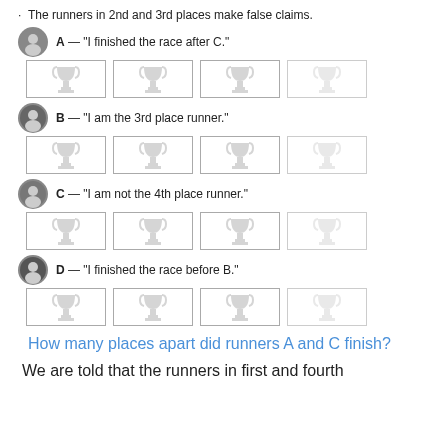The runners in 2nd and 3rd places make false claims.
A — "I finished the race after C."
[Figure (illustration): Four boxes each containing a grayed-out trophy icon, representing placement selection for runner A]
B — "I am the 3rd place runner."
[Figure (illustration): Four boxes each containing a grayed-out trophy icon, representing placement selection for runner B]
C — "I am not the 4th place runner."
[Figure (illustration): Four boxes each containing a grayed-out trophy icon, representing placement selection for runner C]
D — "I finished the race before B."
[Figure (illustration): Four boxes each containing a grayed-out trophy icon, representing placement selection for runner D]
How many places apart did runners A and C finish?
We are told that the runners in first and fourth